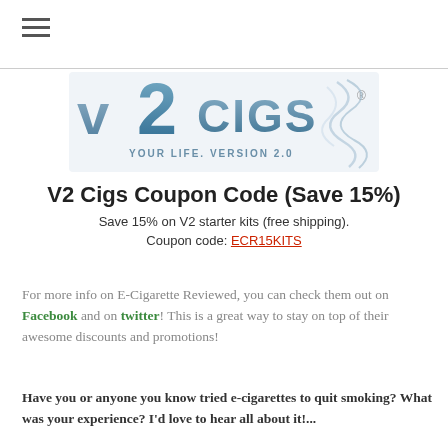[Figure (logo): V2 Cigs logo with tagline 'YOUR LIFE. VERSION 2.0' and smoke/vapor graphic]
V2 Cigs Coupon Code (Save 15%)
Save 15% on V2 starter kits (free shipping).
Coupon code: ECR15KITS
For more info on E-Cigarette Reviewed, you can check them out on Facebook and on twitter! This is a great way to stay on top of their awesome discounts and promotions!
Have you or anyone you know tried e-cigarettes to quit smoking? What was your experience? I'd love to hear all about it!...